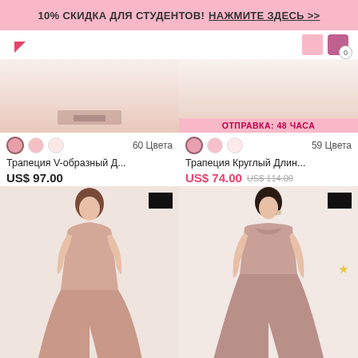10% СКИДКА ДЛЯ СТУДЕНТОВ! НАЖМИТЕ ЗДЕСЬ >>
[Figure (screenshot): Left product: top portion of pink dress photo, color swatches, title Трапеция V-образный Д..., price US$ 97.00]
[Figure (screenshot): Right product: ОТПРАВКА: 48 ЧАСА badge, color swatches, title Трапеция Круглый Длин..., price US$ 74.00 was US$ 114.00]
[Figure (photo): Left: full length photo of model in dusty pink V-neck bridesmaid gown with slit]
[Figure (photo): Right: full length photo of model in dusty rose strapless bridesmaid gown with slit]